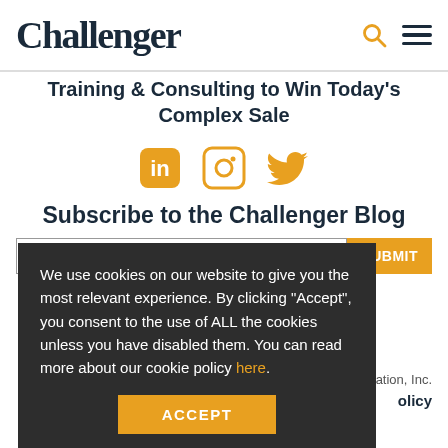Challenger
Training & Consulting to Win Today's Complex Sale
[Figure (illustration): Social media icons: LinkedIn, Instagram, Twitter (all in orange/golden color)]
Subscribe to the Challenger Blog
We use cookies on our website to give you the most relevant experience. By clicking “Accept”, you consent to the use of ALL the cookies unless you have disabled them. You can read more about our cookie policy here.
ation, Inc.
olicy